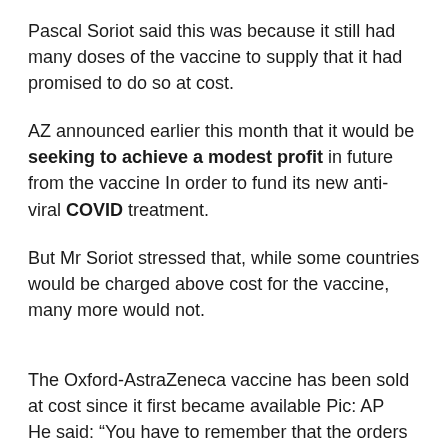Pascal Soriot said this was because it still had many doses of the vaccine to supply that it had promised to do so at cost.
AZ announced earlier this month that it would be seeking to achieve a modest profit in future from the vaccine In order to fund its new anti-viral COVID treatment.
But Mr Soriot stressed that, while some countries would be charged above cost for the vaccine, many more would not.
The Oxford-AstraZeneca vaccine has been sold at cost since it first became available Pic: AP
He said: “You have to remember that the orders we are taking today will be delivered next year. We still have a lot of orders at no profit to deliver. So they will be delivered next